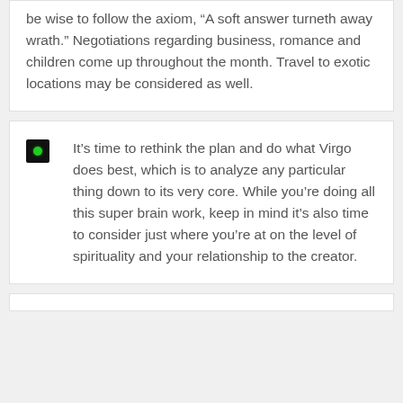be wise to follow the axiom, “A soft answer turneth away wrath.” Negotiations regarding business, romance and children come up throughout the month. Travel to exotic locations may be considered as well.
It’s time to rethink the plan and do what Virgo does best, which is to analyze any particular thing down to its very core. While you’re doing all this super brain work, keep in mind it’s also time to consider just where you’re at on the level of spirituality and your relationship to the creator.